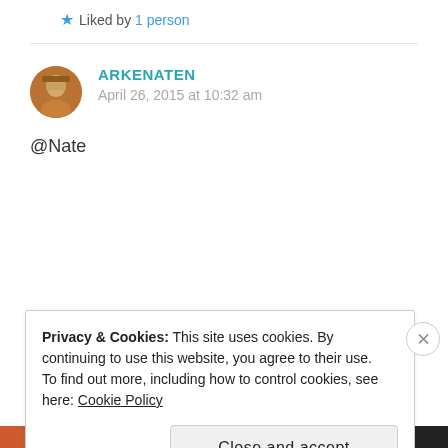★ Liked by 1 person
ARKENATEN
April 26, 2015 at 10:32 am
@Nate
Privacy & Cookies: This site uses cookies. By continuing to use this website, you agree to their use.
To find out more, including how to control cookies, see here: Cookie Policy
Close and accept